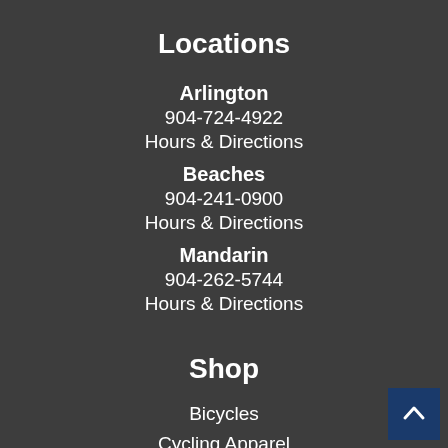Locations
Arlington
904-724-4922
Hours & Directions
Beaches
904-241-0900
Hours & Directions
Mandarin
904-262-5744
Hours & Directions
Shop
Bicycles
Cycling Apparel
Cycling Accessories
Bike Components